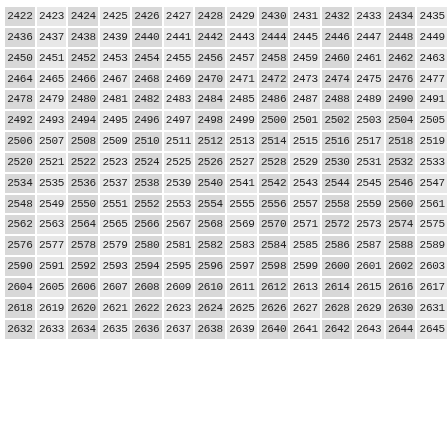2422 2423 2424 2425 2426 2427 2428 2429 2430 2431 2432 2433 2434 2435 2436 2437 2438 2439 2440 2441 2442 2443 2444 2445 2446 2447 2448 2449 2450 2451 2452 2453 2454 2455 2456 2457 2458 2459 2460 2461 2462 2463 2464 2465 2466 2467 2468 2469 2470 2471 2472 2473 2474 2475 2476 2477 2478 2479 2480 2481 2482 2483 2484 2485 2486 2487 2488 2489 2490 2491 2492 2493 2494 2495 2496 2497 2498 2499 2500 2501 2502 2503 2504 2505 2506 2507 2508 2509 2510 2511 2512 2513 2514 2515 2516 2517 2518 2519 2520 2521 2522 2523 2524 2525 2526 2527 2528 2529 2530 2531 2532 2533 2534 2535 2536 2537 2538 2539 2540 2541 2542 2543 2544 2545 2546 2547 2548 2549 2550 2551 2552 2553 2554 2555 2556 2557 2558 2559 2560 2561 2562 2563 2564 2565 2566 2567 2568 2569 2570 2571 2572 2573 2574 2575 2576 2577 2578 2579 2580 2581 2582 2583 2584 2585 2586 2587 2588 2589 2590 2591 2592 2593 2594 2595 2596 2597 2598 2599 2600 2601 2602 2603 2604 2605 2606 2607 2608 2609 2610 2611 2612 2613 2614 2615 2616 2617 2618 2619 2620 2621 2622 2623 2624 2625 2626 2627 2628 2629 2630 2631 2632 2633 2634 2635 2636 2637 2638 2639 2640 2641 2642 2643 2644 2645